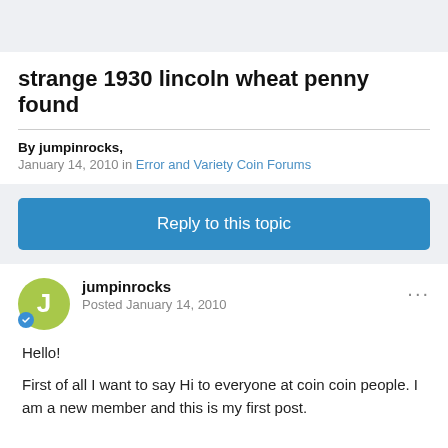strange 1930 lincoln wheat penny found
By jumpinrocks,
January 14, 2010 in Error and Variety Coin Forums
Reply to this topic
jumpinrocks
Posted January 14, 2010
Hello!
First of all I want to say Hi to everyone at coin coin people. I am a new member and this is my first post.